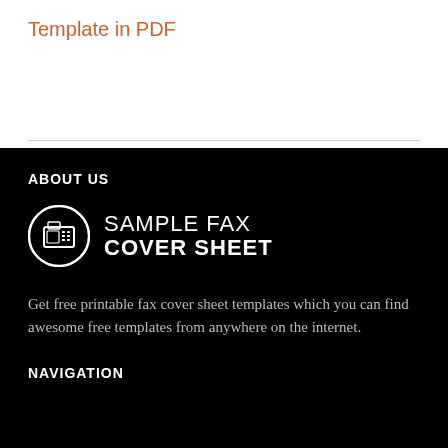Template in PDF
[Figure (logo): Sample Fax Cover Sheet logo with fax machine icon in a circle and text 'SAMPLE FAX COVER SHEET']
ABOUT US
Get free printable fax cover sheet templates which you can find awesome free templates from anywhere on the internet.
NAVIGATION